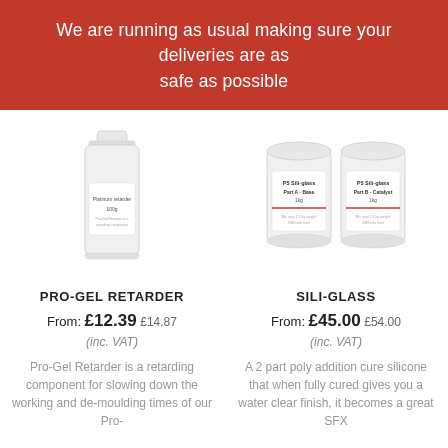We are running as usual making sure your deliveries are as safe as possible
[Figure (photo): White plastic bottle labeled 'Platinum retarder 100g']
[Figure (photo): Two white plastic tubs labeled 'PS Sili-glass Part A - Base 1kg' and 'PS Sili-glass Part B - Catalyst 1kg']
PRO-GEL RETARDER
From: £12.39 £14.87 (inc. VAT)
Pro-Gel Retarder is a retarding component for slowing down the working and de-moulding times of our Pro-
SILI-GLASS
From: £45.00 £54.00 (inc. VAT)
A 2 part poly addition cure silicone that when fully cured gives you a water clear finish, it becomes a great SFX